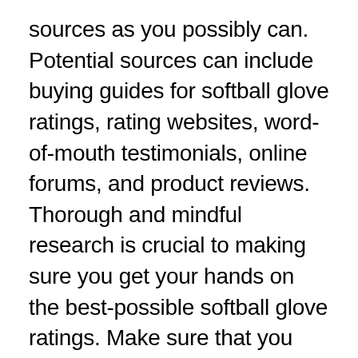sources as you possibly can. Potential sources can include buying guides for softball glove ratings, rating websites, word-of-mouth testimonials, online forums, and product reviews. Thorough and mindful research is crucial to making sure you get your hands on the best-possible softball glove ratings. Make sure that you are only using trustworthy and credible websites and sources. Sportswallah provides an softball glove ratings buying guide, and the information is totally objective and authentic. We employ both AI and big data in proofreading the collected information. How did we create this buying guide? We did it using a custom-created selection of algorithms that lets us manifest a top-10 list of the best available softball glove ratings